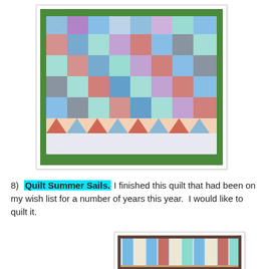[Figure (photo): A colorful star-pattern quilt laid out on green grass, photographed from above. The quilt features blue, red, purple, and white geometric star/pinwheel patterns with a decorative border of small triangles.]
8)  Quilt Summer Sails.  I finished this quilt that had been on my wish list for a number of years this year.  I would like to quilt it.
[Figure (photo): A partial photo of what appears to be another quilt displayed on a rack or shelf, with vertical striped/sail-like pattern visible.]